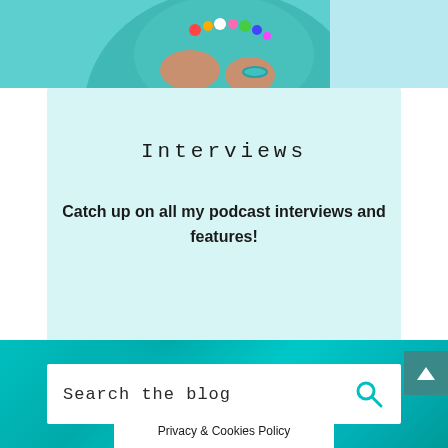[Figure (photo): Person wearing teal/turquoise clothing and colorful beaded necklace, photo cropped at top of page]
Interviews
Catch up on all my podcast interviews and features!
[Figure (photo): Teal/turquoise textured background (ocean or painted surface) with search box overlay and scroll-up button]
Search the blog
Privacy & Cookies Policy